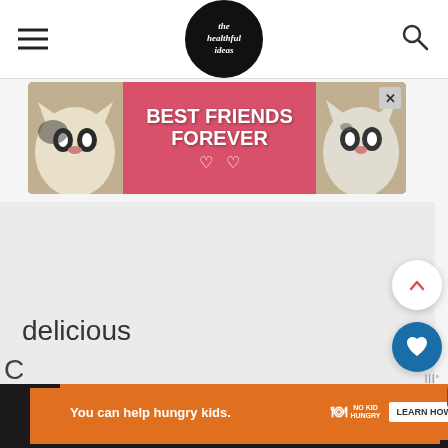[Figure (logo): The Healthful Ideas blog logo - circular black badge with stylized handwritten text]
[Figure (photo): Advertisement banner with pink/red background showing two cats with text BEST FRIENDS FOREVER and heart symbols]
delicious
satisfying
[Figure (infographic): Orange advertisement banner: You can help hungry kids. No Kid Hungry. LEARN HOW button]